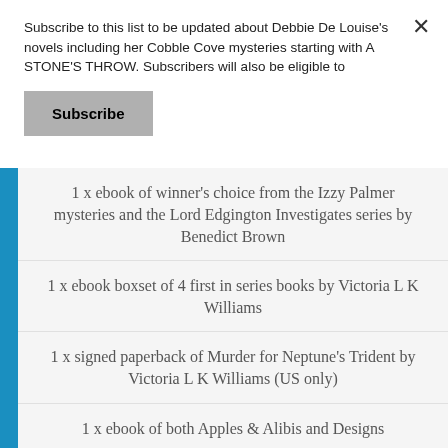Subscribe to this list to be updated about Debbie De Louise's novels including her Cobble Cove mysteries starting with A STONE'S THROW. Subscribers will also be eligible to
Subscribe
1 x ebook of winner's choice from the Izzy Palmer mysteries and the Lord Edgington Investigates series by Benedict Brown
1 x ebook boxset of 4 first in series books by Victoria L K Williams
1 x signed paperback of Murder for Neptune's Trident by Victoria L K Williams (US only)
1 x ebook of both Apples & Alibis and Designs